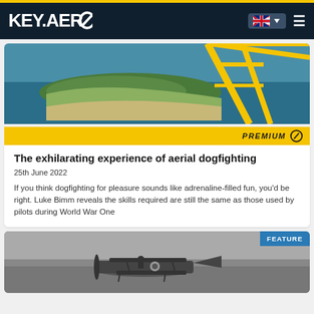KEY.AERO
[Figure (photo): Aerial photograph of coastline/island taken from a yellow biplane, with yellow struts visible in foreground]
PREMIUM
The exhilarating experience of aerial dogfighting
25th June 2022
If you think dogfighting for pleasure sounds like adrenaline-filled fun, you'd be right. Luke Bimm reveals the skills required are still the same as those used by pilots during World War One
[Figure (photo): Black and white photograph of a vintage World War One era aircraft on the ground with a pilot]